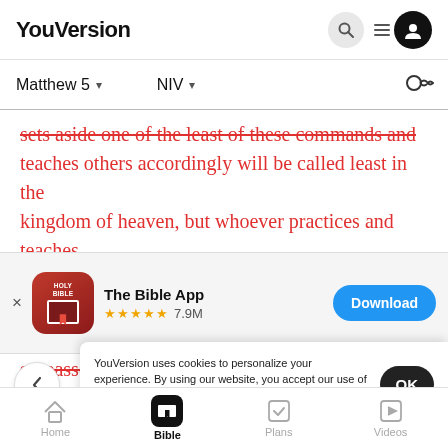YouVersion
Matthew 5  NIV
sets aside one of the least of these commands and teaches others accordingly will be called least in the kingdom of heaven, but whoever practices and teaches
[Figure (screenshot): The Bible App install banner with HOLY BIBLE icon, 4.5 stars, 7.9M reviews, and Download button]
surpasses that of the Pharisees and the teachers of the
YouVersion uses cookies to personalize your experience. By using our website, you accept our use of cookies as described in our Privacy Policy.
Murder
Home  Bible  Plans  Videos